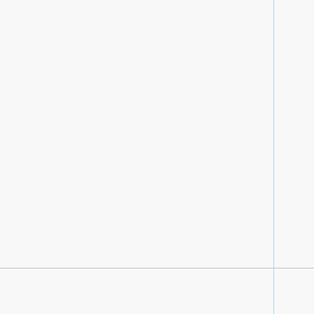|  |  |  | had minimal control over electric manipulation. Afterwards, almost as sh Elle was. |
|  |  |  | - Elle didn't see shocked that he intended shot fo hit Claire.
• She didn't Claire's power wasn't work
• Sylar was also to her, if she loc shocked he wor suspicious.
• Sylar just |